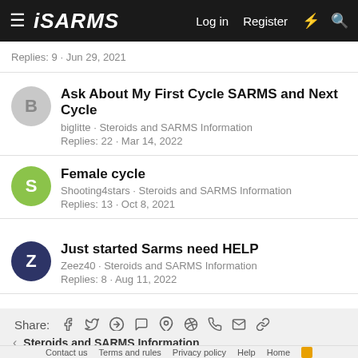isarms.com — Log in · Register
Replies: 9 · Jun 29, 2021
Ask About My First Cycle SARMS and Next Cycle
biglitte · Steroids and SARMS Information
Replies: 22 · Mar 14, 2022
Female cycle
Shooting4stars · Steroids and SARMS Information
Replies: 13 · Oct 8, 2021
Just started Sarms need HELP
Zeez40 · Steroids and SARMS Information
Replies: 8 · Aug 11, 2022
Share:
Steroids and SARMS Information
Contact us · Terms and rules · Privacy policy · Help · Home